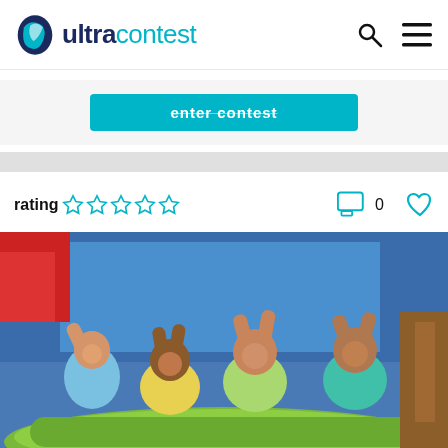ultracontest
enter contest
rating ☆☆☆☆☆   0
[Figure (photo): Children riding a roller coaster with hands raised, smiling and enjoying the ride. Blue structure and green roller coaster car visible.]